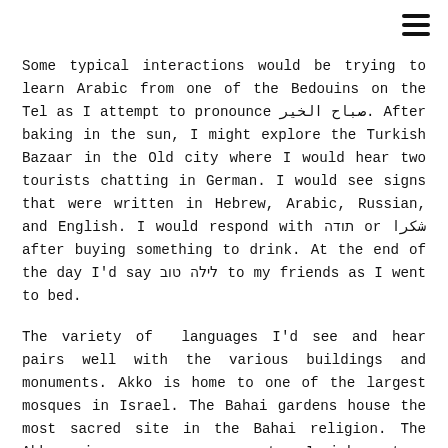Some typical interactions would be trying to learn Arabic from one of the Bedouins on the Tel as I attempt to pronounce صباح الخير. After baking in the sun, I might explore the Turkish Bazaar in the Old city where I would hear two tourists chatting in German. I would see signs that were written in Hebrew, Arabic, Russian, and English. I would respond with תודה or شكرا after buying something to drink. At the end of the day I'd say לילה טוב to my friends as I went to bed.
The variety of  languages I'd see and hear pairs well with the various buildings and monuments. Akko is home to one of the largest mosques in Israel. The Bahai gardens house the most sacred site in the Bahai religion. The Akko prison museum commemorates Jewish martyrs during the British Mandate. There is also the beach which all peoples can relate to.
Whatever legislation is passed, Akko and subsequently, Israel, will